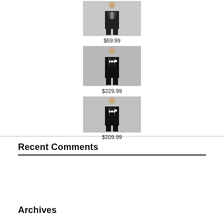[Figure (photo): Man in dark suit, product listing image]
$69.99
[Figure (photo): Man in black tuxedo with bow tie, product listing image]
$229.99
[Figure (photo): Man in black tuxedo with bow tie, product listing image]
$209.99
Recent Comments
Archives